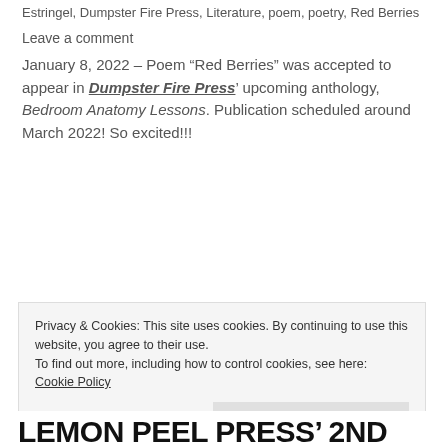Estringel, Dumpster Fire Press, Literature, poem, poetry, Red Berries
Leave a comment
January 8, 2022 – Poem “Red Berries” was accepted to appear in Dumpster Fire Press’ upcoming anthology, Bedroom Anatomy Lessons. Publication scheduled around March 2022! So excited!!!
Privacy & Cookies: This site uses cookies. By continuing to use this website, you agree to their use.
To find out more, including how to control cookies, see here: Cookie Policy
Close and accept
LEMON PEEL PRESS' 2ND